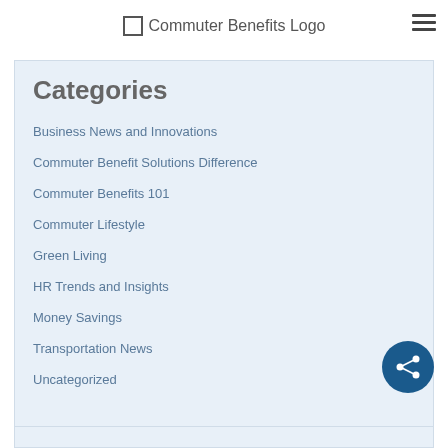Commuter Benefits Logo
Categories
Business News and Innovations
Commuter Benefit Solutions Difference
Commuter Benefits 101
Commuter Lifestyle
Green Living
HR Trends and Insights
Money Savings
Transportation News
Uncategorized